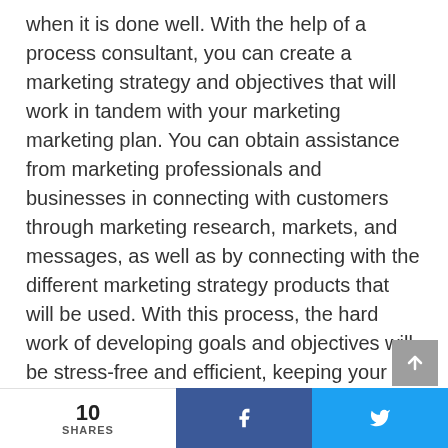when it is done well. With the help of a process consultant, you can create a marketing strategy and objectives that will work in tandem with your marketing marketing plan. You can obtain assistance from marketing professionals and businesses in connecting with customers through marketing research, markets, and messages, as well as by connecting with the different marketing strategy products that will be used. With this process, the hard work of developing goals and objectives will be stress-free and efficient, keeping your company's marketing strategy on track for success.

The above is an intelligent and exciting piece of